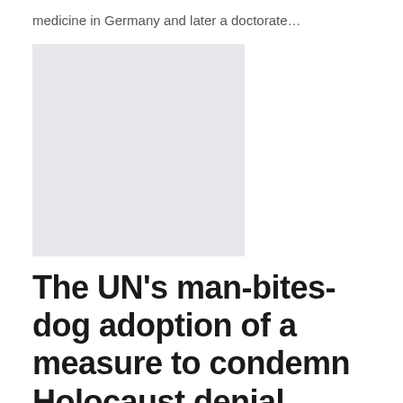medicine in Germany and later a doctorate…
[Figure (photo): Light gray rectangular image placeholder]
The UN's man-bites-dog adoption of a measure to condemn Holocaust denial
Jonathan J. Me…    Jan 21, 2022
What do you know? The United Nations, which spends much of its time bashing the world's only Jewish state, just adopted an Israeli resolution condemning Holocaust denial. Hear, hear. It was only second time…